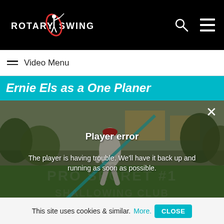[Figure (logo): Rotary Swing logo with golfer silhouette and text ROTARY SWING in white on black background, with search and hamburger menu icons]
Video Menu
Ernie Els as a One Planer
[Figure (screenshot): Video player screenshot showing golfer Ernie Els mid-swing on a golf course with overlay lines, with a Player error message overlay reading: Player error. The player is having trouble. We'll have it back up and running as soon as possible. Background watermark text reads PRO SECRET #1 SHALLOWING CLUB]
This site uses cookies & similar. More. CLOSE